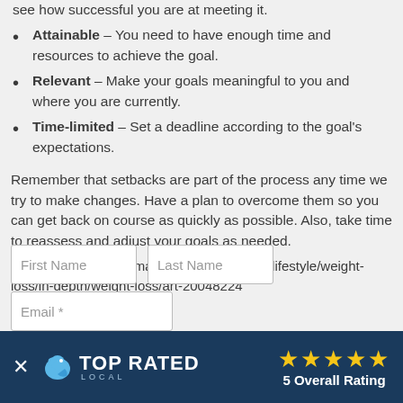see how successful you are at meeting it.
Attainable – You need to have enough time and resources to achieve the goal.
Relevant – Make your goals meaningful to you and where you are currently.
Time-limited – Set a deadline according to the goal's expectations.
Remember that setbacks are part of the process any time we try to make changes. Have a plan to overcome them so you can get back on course as quickly as possible. Also, take time to reassess and adjust your goals as needed.
Source: https://www.mayoclinic.org/healthy-lifestyle/weight-loss/in-depth/weight-loss/art-20048224
[Figure (screenshot): Top Rated Local banner with 5 Overall Rating stars on dark blue background, with a close button (X) on the left]